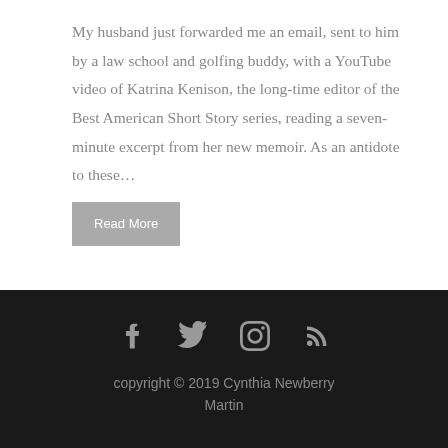My husband just forwarded me an email, sent to him by a law school and golfing buddy, with a YouTube video of Katrina Kenison, the long-time editor of the Best American Short Story series, reading a seven-minute excerpt from her new memoir. As an antidote to these...
Read More
copyright © 2019 Cynthia Newberry Martin